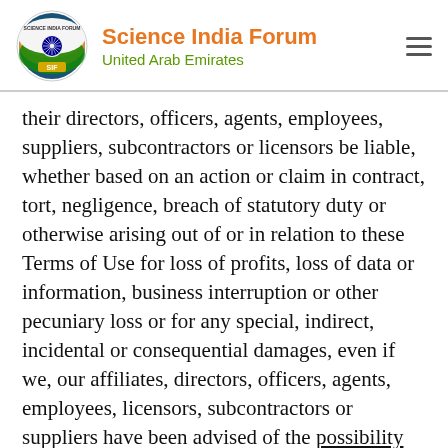Science India Forum United Arab Emirates
their directors, officers, agents, employees, suppliers, subcontractors or licensors be liable, whether based on an action or claim in contract, tort, negligence, breach of statutory duty or otherwise arising out of or in relation to these Terms of Use for loss of profits, loss of data or information, business interruption or other pecuniary loss or for any special, indirect, incidental or consequential damages, even if we, our affiliates, directors, officers, agents, employees, licensors, subcontractors or suppliers have been advised of the possibility of such damages.